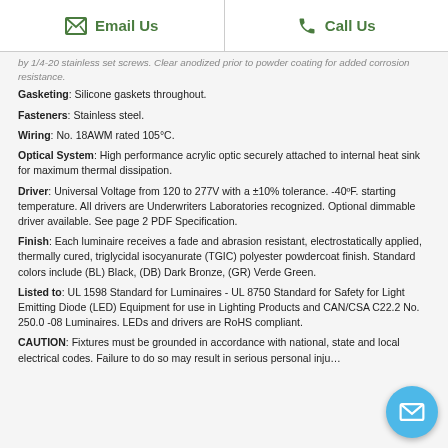Email Us | Call Us
by 1/4-20 stainless set screws. Clear anodized prior to powder coating for added corrosion resistance.
Gasketing: Silicone gaskets throughout.
Fasteners: Stainless steel.
Wiring: No. 18AWM rated 105°C.
Optical System: High performance acrylic optic securely attached to internal heat sink for maximum thermal dissipation.
Driver: Universal Voltage from 120 to 277V with a ±10% tolerance. -40°F. starting temperature. All drivers are Underwriters Laboratories recognized. Optional dimmable driver available. See page 2 PDF Specification.
Finish: Each luminaire receives a fade and abrasion resistant, electrostatically applied, thermally cured, triglycidal isocyanurate (TGIC) polyester powdercoat finish. Standard colors include (BL) Black, (DB) Dark Bronze, (GR) Verde Green.
Listed to: UL 1598 Standard for Luminaires - UL 8750 Standard for Safety for Light Emitting Diode (LED) Equipment for use in Lighting Products and CAN/CSA C22.2 No. 250.0 -08 Luminaires. LEDs and drivers are RoHS compliant.
CAUTION: Fixtures must be grounded in accordance with national, state and local electrical codes. Failure to do so may result in serious personal injury...